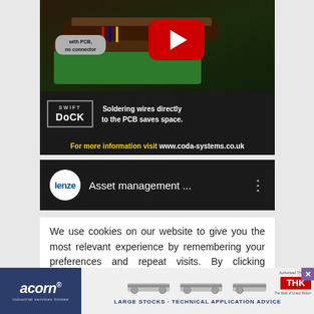[Figure (screenshot): Video thumbnail showing PCB connector assembly with YouTube play button overlay. Text label reads 'with PCB, no connector'. Bottom strip shows Swift Dock logo and text 'Soldering wires directly to the PCB saves space.']
For more information visit www.coda-systems.co.uk
[Figure (screenshot): Lenze video thumbnail on dark background showing Lenze logo circle and text 'Asset management ...' with three-dot menu icon]
We use cookies on our website to give you the most relevant experience by remembering your preferences and repeat visits. By clicking “Accept”, you consent to the use of ALL the cookies.
[Figure (advertisement): Bottom ad banner for Acorn Industrial Services Limited and THK linear motion products. Shows 'LARGE STOCKS - TECHNICAL APPLICATION ADVICE' text with rail product images.]